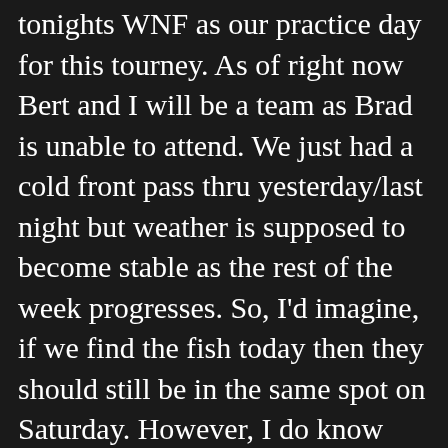tonights WNF as our practice day for this tourney. As of right now Bert and I will be a team as Brad is unable to attend. We just had a cold front pass thru yesterday/last night but weather is supposed to become stable as the rest of the week progresses. So, I'd imagine, if we find the fish today then they should still be in the same spot on Saturday. However, I do know Hickory and fishing Hickory in the morning is completely different than fishing it in the afternoon/evening. So that being said my predictions for tonight are as follows. I think crankbaits will be a good bait early. Something that runs in the 6-12ft range. Learning from our last WNF at Ada Hayden as the sun dropped and turned to dark the crankbait bite quite completely and the bite moved to a craw/bottom bouncing technique. I definately wont miss this switch if it holds true again on this different body of water. But I'll be honest I rarely fish this late into fall as my mind quickly shifts to big antlered deer so this tourney and WNF will definately be an eye opener! Here is a quick link to the